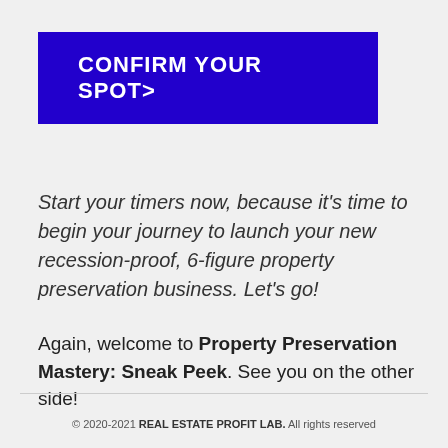[Figure (other): Blue button with white bold uppercase text reading 'CONFIRM YOUR SPOT>' with a right-pointing chevron]
Start your timers now, because it's time to begin your journey to launch your new recession-proof, 6-figure property preservation business. Let's go!
Again, welcome to Property Preservation Mastery: Sneak Peek. See you on the other side!
© 2020-2021 REAL ESTATE PROFIT LAB. All rights reserved